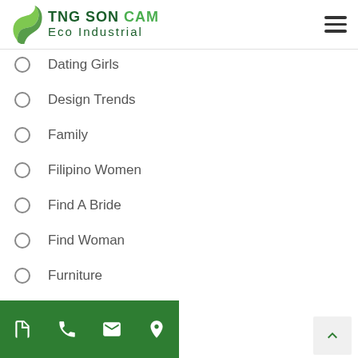TNG SON CAM Eco Industrial
Dating Girls
Design Trends
Family
Filipino Women
Find A Bride
Find Woman
Furniture
Hookup Online
Hookup Sites That Work
Hookup Websites